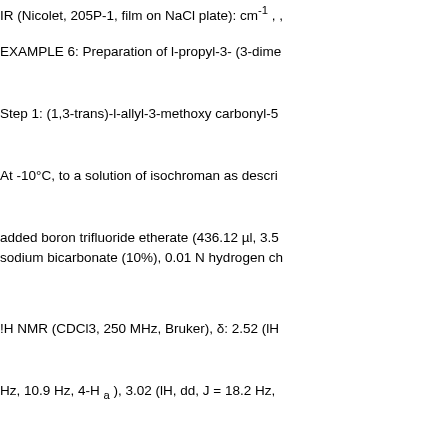IR (Nicolet, 205P-1, film on NaCl plate): cm⁻¹ ,
EXAMPLE 6: Preparation of l-propyl-3- (3-dime
Step 1: (1,3-trans)-l-allyl-3-methoxy carbonyl-5
At -10°C, to a solution of isochroman as descri
added boron trifluoride etherate (436.12 µl, 3.5 sodium bicarbonate (10%), 0.01 N hydrogen ch
!H NMR (CDCl3, 250 MHz, Bruker), δ: 2.52 (lH
Hz, 10.9 Hz, 4-H a ), 3.02 (lH, dd, J = 18.2 Hz,
H e ), 3.75 (3H, s, OCH3), 3.77 (6H, s, 2xOCH
J = 10.9 Hz, 5.4 Hz, 3-H) , 5.13-5.03 (2H, m, C
(lH, dd, J = 9.6 Hz, 3.6 Hz, 1-H) , 5.96 (lH, m, C
Step 2: l-propyl-3-methoxy carbonyl-5, 8-dimet
The (1, 3-trans) -l-allyl-3-methoxy carbonyl-5, 8 (1 at m, Pd/c-10%, 27 mg, 0.0251 mmol) . Afte
-E NMR (CDCl3, 250 MHz, Bruker), δ: 0.95 (3H 3.74 (3H, s, OCH3), 3.76 (3H, s, OCH3) , 3.79
Step 3: l-propyl-3-methoxycarbonyl-3,4,5, 8-tet
The l-propyl-3-methoxy carbonyl-5, 8-dimetho ammonium cerium (lV) nitrate (519.7 mg, 0.948 was poured to dichloromethane. The organic la